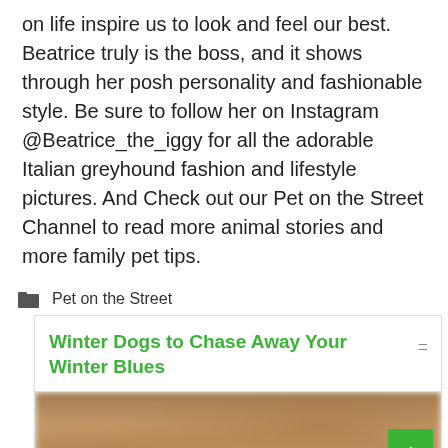on life inspire us to look and feel our best. Beatrice truly is the boss, and it shows through her posh personality and fashionable style. Be sure to follow her on Instagram @Beatrice_the_iggy for all the adorable Italian greyhound fashion and lifestyle pictures. And Check out our Pet on the Street Channel to read more animal stories and more family pet tips.
Pet on the Street
Winter Dogs to Chase Away Your Winter Blues
[Figure (photo): Blurry outdoor photo showing trees or forest scene in winter, partially visible at bottom of card]